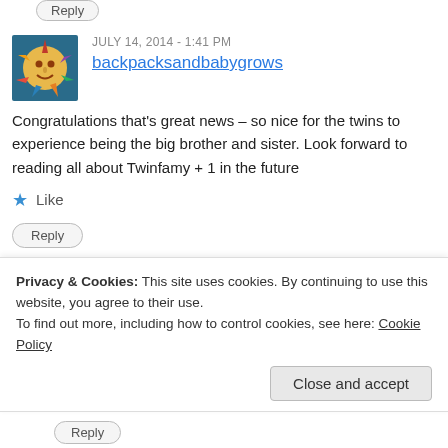Reply (button, top)
JULY 14, 2014 - 1:41 PM
backpacksandbabygrows
Congratulations that's great news – so nice for the twins to experience being the big brother and sister. Look forward to reading all about Twinfamy + 1 in the future
Like
Reply
JULY 14, 2014 - 2:55 PM
John Pseudonymous
Thanks. Seeing the Twins as older siblings is one of the most
Privacy & Cookies: This site uses cookies. By continuing to use this website, you agree to their use.
To find out more, including how to control cookies, see here: Cookie Policy
Close and accept
Reply (bottom button)